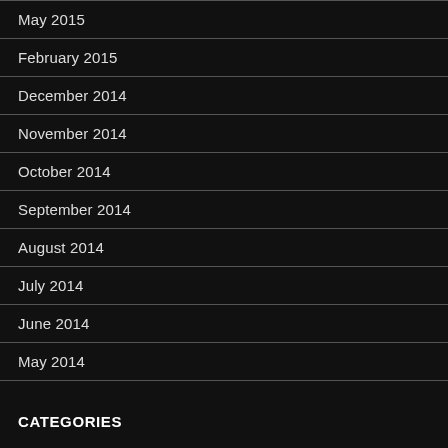May 2015
February 2015
December 2014
November 2014
October 2014
September 2014
August 2014
July 2014
June 2014
May 2014
CATEGORIES